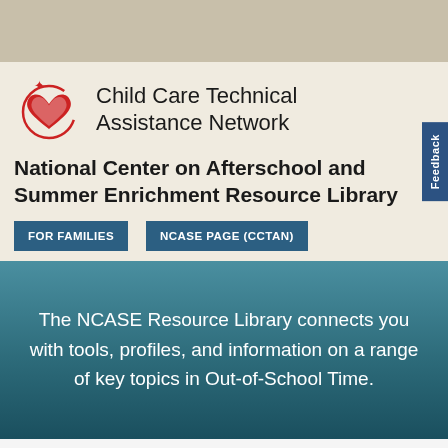[Figure (logo): Child Care Technical Assistance Network logo with red heart and star graphic]
National Center on Afterschool and Summer Enrichment Resource Library
FOR FAMILIES
NCASE PAGE (CCTAN)
Feedback
The NCASE Resource Library connects you with tools, profiles, and information on a range of key topics in Out-of-School Time.
NCASE Home > NCASE Resource Library > > Subsidy, Eligibility, and Equal Access > Professional Development > Webinar > National